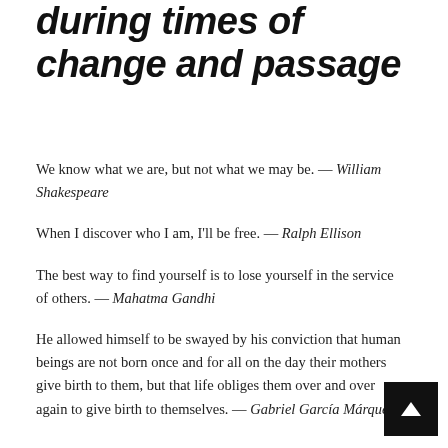during times of change and passage
We know what we are, but not what we may be. — William Shakespeare
When I discover who I am, I'll be free. — Ralph Ellison
The best way to find yourself is to lose yourself in the service of others. — Mahatma Gandhi
He allowed himself to be swayed by his conviction that human beings are not born once and for all on the day their mothers give birth to them, but that life obliges them over and over again to give birth to themselves. — Gabriel García Márquez